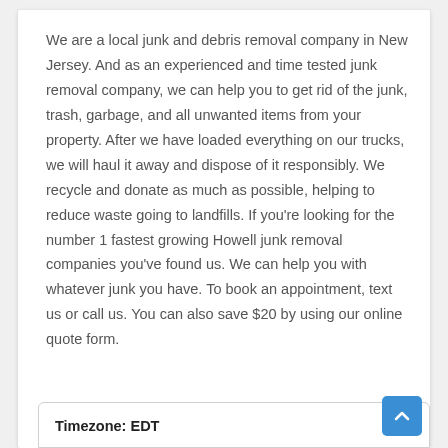We are a local junk and debris removal company in New Jersey. And as an experienced and time tested junk removal company, we can help you to get rid of the junk, trash, garbage, and all unwanted items from your property. After we have loaded everything on our trucks, we will haul it away and dispose of it responsibly. We recycle and donate as much as possible, helping to reduce waste going to landfills. If you're looking for the number 1 fastest growing Howell junk removal companies you've found us. We can help you with whatever junk you have. To book an appointment, text us or call us. You can also save $20 by using our online quote form.
Timezone: EDT